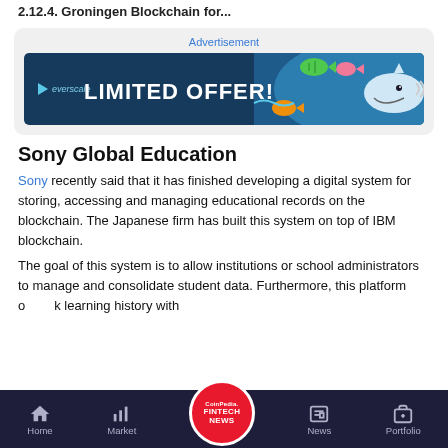2.12.4. Groningen Blockchain for...
[Figure (screenshot): Advertisement banner for Everscale featuring 'LIMITED OFFER!' text with colorful fish and shark graphics on a dark blue background]
Sony Global Education
Sony recently said that it has finished developing a digital system for storing, accessing and managing educational records on the blockchain. The Japanese firm has built this system on top of IBM blockchain.
The goal of this system is to allow institutions or school administrators to manage and consolidate student data. Furthermore, this platform o... k learning history with
Home  Market  CoinPedia FINTECH NEWS  News  Portfolio